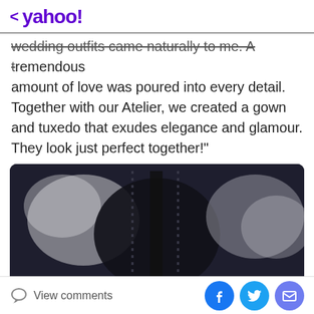< yahoo!
wedding outfits came naturally to me. A tremendous amount of love was poured into every detail. Together with our Atelier, we created a gown and tuxedo that exudes elegance and glamour. They look just perfect together!"
[Figure (photo): Close-up blurry photo of a dark metallic object with gold accents, possibly a decorative ring or belt detail, with white/silver reflections on a dark background.]
View comments